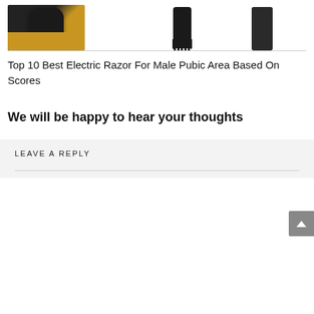[Figure (photo): Three electric razors/trimmers shown partially: left one is a round black device on yellow/gold background, middle is a black comb-style trimmer, right is a slim black razor.]
Top 10 Best Electric Razor For Male Pubic Area Based On Scores
We will be happy to hear your thoughts
LEAVE A REPLY